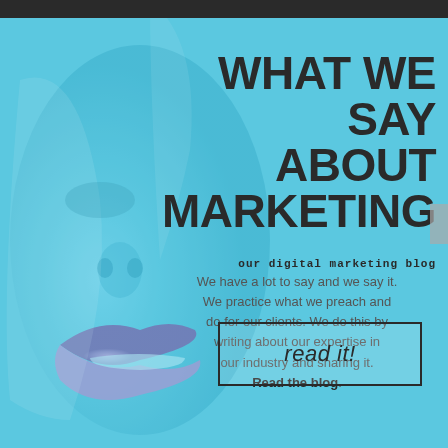[Figure (photo): Close-up photo of a face with blue/purple tinted lips and skin, heavily blue-toned, covering the left side of the page as background.]
WHAT WE SAY ABOUT MARKETING
our digital marketing blog
We have a lot to say and we say it. We practice what we preach and do for our clients. We do this by writing about our expertise in our industry and sharing it. Read the blog.
read it!